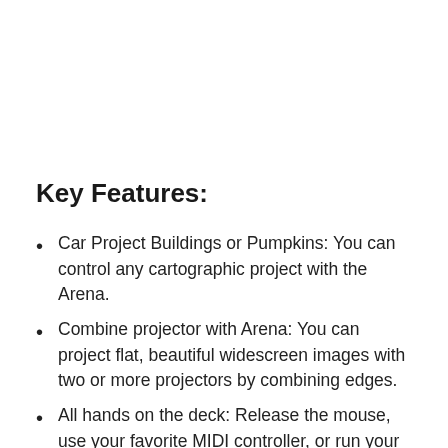Key Features:
Car Project Buildings or Pumpkins: You can control any cartographic project with the Arena.
Combine projector with Arena: You can project flat, beautiful widescreen images with two or more projectors by combining edges.
All hands on the deck: Release the mouse, use your favorite MIDI controller, or run your iPhone via OSC.